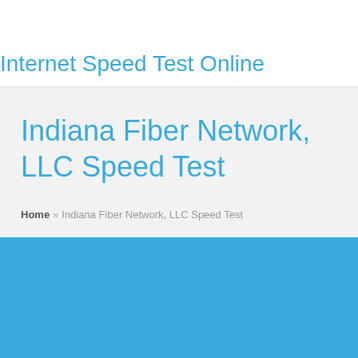Internet Speed Test Online
Indiana Fiber Network, LLC Speed Test
Home » Indiana Fiber Network, LLC Speed Test
[Figure (other): Solid blue background band filling the bottom portion of the page]